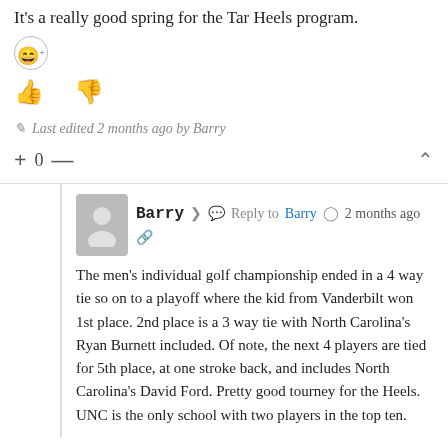It's a really good spring for the Tar Heels program.
[Figure (illustration): Emoji reaction icon (smiley with plus sign)]
[Figure (illustration): Thumbs up and thumbs down icons in blue]
Last edited 2 months ago by Barry
+ 0 —
Barry  Reply to Barry  2 months ago
The men's individual golf championship ended in a 4 way tie so on to a playoff where the kid from Vanderbilt won 1st place. 2nd place is a 3 way tie with North Carolina's Ryan Burnett included. Of note, the next 4 players are tied for 5th place, at one stroke back, and includes North Carolina's David Ford. Pretty good tourney for the Heels. UNC is the only school with two players in the top ten.